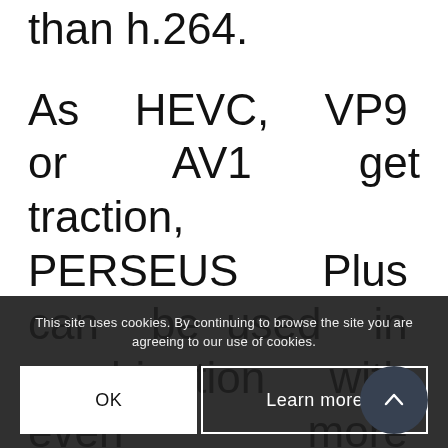than h.264.
As HEVC, VP9 or AV1 get traction, PERSEUS Plus can be used in combination with even more efficient ‘base’ codecs, providing even more compression advantages. At the same time, also the efficiency of PERSEUS Plus encoders will keep improving,
This site uses cookies. By continuing to browse the site you are agreeing to our use of cookies.